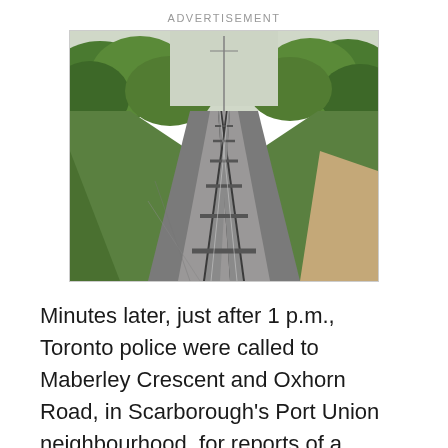ADVERTISEMENT
[Figure (photo): View from front of a train looking down two parallel railway tracks receding into the distance, flanked by green trees and vegetation on both sides, with a dirt path on the right side. Motion blur visible on the tracks.]
Minutes later, just after 1 p.m., Toronto police were called to Maberley Crescent and Oxhorn Road, in Scarborough's Port Union neighbourhood, for reports of a person carrying